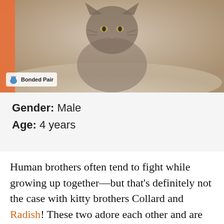[Figure (photo): Photo of a tabby cat looking up at the camera, with a 'Bonded Pair' badge overlay in the bottom left corner featuring a blue cat icon.]
Gender: Male
Age: 4 years
Human brothers often tend to fight while growing up together—but that's definitely not the case with kitty brothers Collard and Radish! These two adore each other and are looking for a new home together. Both of these dudes are a little on the shy side and took some time adjusting to the shelter—and we know they'll take some time to adjusting to their adoptive home, too. When given the time they needed to settle in, Collard was the first of this dynamic duo